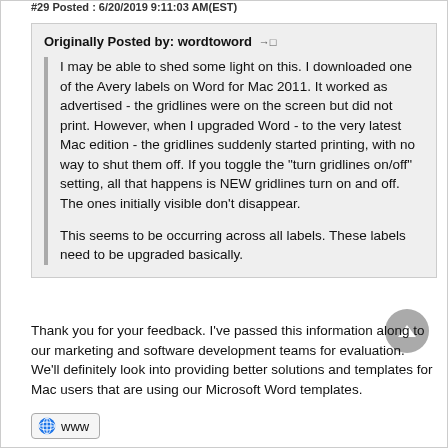#29 Posted : 6/20/2019 9:11:03 AM(EST)
Originally Posted by: wordtoword
I may be able to shed some light on this. I downloaded one of the Avery labels on Word for Mac 2011. It worked as advertised - the gridlines were on the screen but did not print. However, when I upgraded Word - to the very latest Mac edition - the gridlines suddenly started printing, with no way to shut them off. If you toggle the "turn gridlines on/off" setting, all that happens is NEW gridlines turn on and off. The ones initially visible don't disappear.

This seems to be occurring across all labels. These labels need to be upgraded basically.
Thank you for your feedback. I've passed this information along to our marketing and software development teams for evaluation. We'll definitely look into providing better solutions and templates for Mac users that are using our Microsoft Word templates.
www